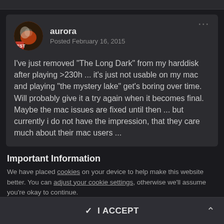aurora
Posted February 16, 2015
I've just removed "The Long Dark" from my harddisk after playing >230h ... it's just not usable on my mac and playing "the mystery lake" get's boring over time. Will probably give it a try again when it becomes final. Maybe the mac issues are fixed until then ... but currently i do not have the impression, that they care much about their mac users ...
Important Information
We have placed cookies on your device to help make this website better. You can adjust your cookie settings, otherwise we'll assume you're okay to continue.
✓  I ACCEPT